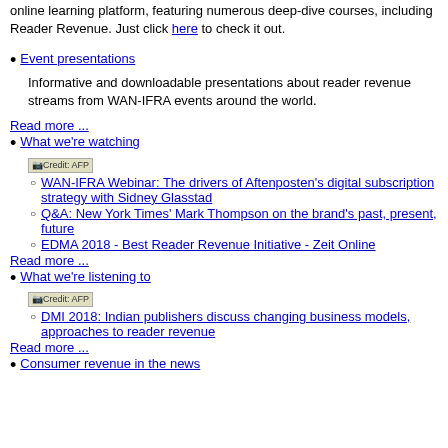online learning platform, featuring numerous deep-dive courses, including Reader Revenue. Just click here to check it out.
Event presentations
Informative and downloadable presentations about reader revenue streams from WAN-IFRA events around the world.
Read more ...
What we're watching
[Figure (photo): Credit: AFP image thumbnail]
WAN-IFRA Webinar: The drivers of Aftenposten's digital subscription strategy with Sidney Glasstad
Q&A: New York Times' Mark Thompson on the brand's past, present, future
EDMA 2018 - Best Reader Revenue Initiative - Zeit Online
Read more ...
What we're listening to
[Figure (photo): Credit: AFP image thumbnail]
DMI 2018: Indian publishers discuss changing business models, approaches to reader revenue
Read more ...
Consumer revenue in the news